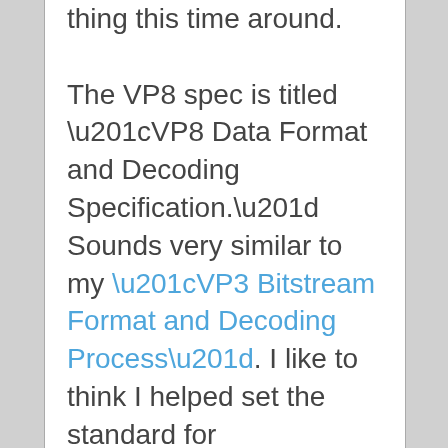thing this time around.

The VP8 spec is titled “VP8 Data Format and Decoding Specification.” Sounds very similar to my “VP3 Bitstream Format and Decoding Process”. I like to think I helped set the standard for documentation as evidenced by the spec’s